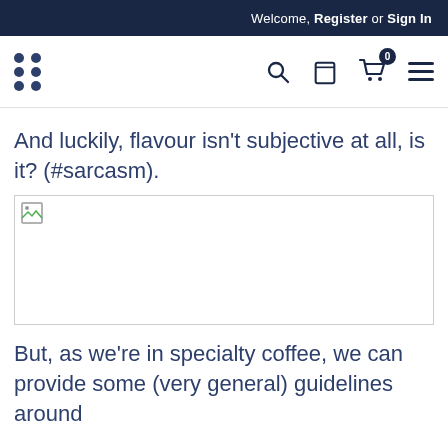Welcome, Register or Sign In
[Figure (logo): Dot-grid logo (six dots arranged in a 2-column pattern) and navigation icons: search, bag, cart with 0 badge, hamburger menu]
And luckily, flavour isn’t subjective at all, is it? (#sarcasm).
[Figure (photo): Broken/missing image placeholder]
But, as we’re in specialty coffee, we can provide some (very general) guidelines around